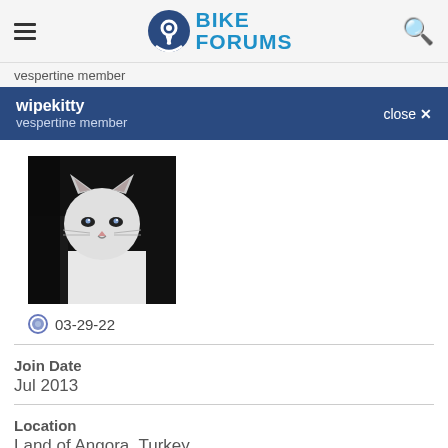BIKE FORUMS
vespertine member
wipekitty vespertine member close ✕
[Figure (photo): Black and white photo of a white cat peeking upward against a dark background]
03-29-22
Join Date
Jul 2013
Location
Land of Angora, Turkey
Posts:
2,476